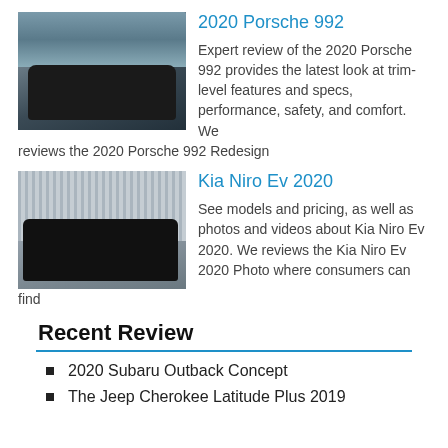2020 Porsche 992
[Figure (photo): Photo of a dark colored 2020 Porsche 992 sports car on a road with hills and water in background]
Expert review of the 2020 Porsche 992 provides the latest look at trim-level features and specs, performance, safety, and comfort. We reviews the 2020 Porsche 992 Redesign
Kia Niro Ev 2020
[Figure (photo): Photo of a dark colored Kia Niro EV 2020 SUV parked in front of a building with vertical slats]
See models and pricing, as well as photos and videos about Kia Niro Ev 2020. We reviews the Kia Niro Ev 2020 Photo where consumers can find
Recent Review
2020 Subaru Outback Concept
The Jeep Cherokee Latitude Plus 2019